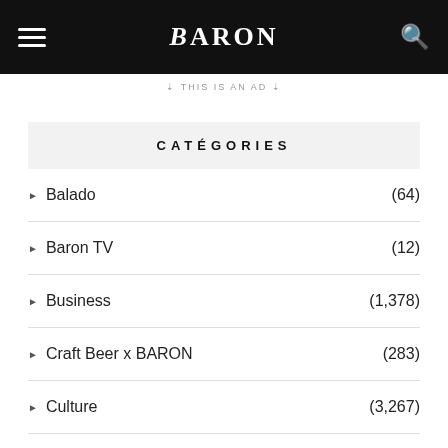BARON
↑ THIS IS AN AD ↑
CATÉGORIES
Balado (64)
Baron TV (12)
Business (1,378)
Craft Beer x BARON (283)
Culture (3,267)